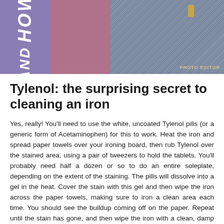[Figure (photo): Top banner image showing a purple block with 'HOW' and 'AND' text in white italic, a pink/mauve block, and a fabric/clothing photo on the right with a zipper clasp and 'PHOTO EDITOR' watermark text]
Tylenol: the surprising secret to cleaning an iron
Yes, really! You'll need to use the white, uncoated Tylenol pills (or a generic form of Acetaminophen) for this to work. Heat the iron and spread paper towels over your ironing board, then rub Tylenol over the stained area, using a pair of tweezers to hold the tablets. You'll probably need half a dozen or so to do an entire soleplate, depending on the extent of the staining. The pills will dissolve into a gel in the heat. Cover the stain with this gel and then wipe the iron across the paper towels, making sure to iron a clean area each time. You should see the buildup coming off on the paper. Repeat until the stain has gone, and then wipe the iron with a clean, damp cloth to remove any residue.